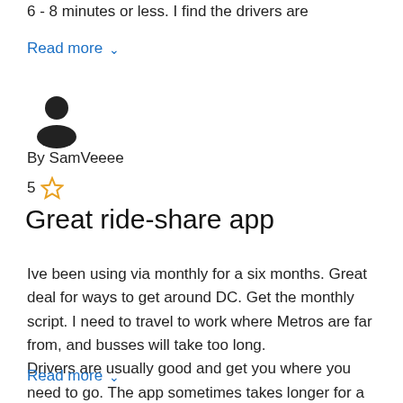6 - 8 minutes or less. I find the drivers are
Read more ⌄
[Figure (illustration): User avatar icon: silhouette of a person (head and shoulders) in dark gray/black]
By SamVeeee
5 ☆
Great ride-share app
Ive been using via monthly for a six months. Great deal for ways to get around DC. Get the monthly script. I need to travel to work where Metros are far from, and busses will take too long.
Drivers are usually good and get you where you need to go. The app sometimes takes longer for a pickup to happen, I assume it is based on driver availabilites and not being as big of a company as lyft and Uber.
Read more ⌄